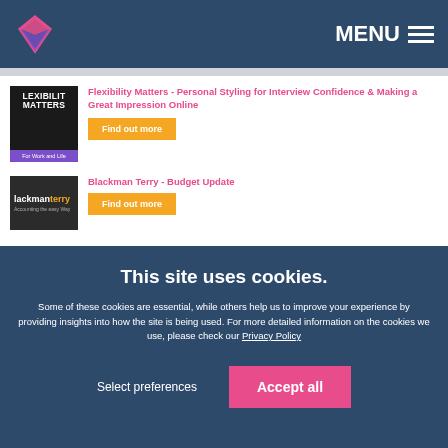MENU
[Figure (screenshot): Flexibility Matters logo - dark background with white text LEXIBILIT MATTERS and purple bar For Work and Life]
Flexibility Matters - Personal Styling for Interview Confidence & Making a Great Impression Online
Find out more
[Figure (screenshot): Blackman Terry logo - dark background with white and orange text]
Blackman Terry - Budget Update
Find out more
This site uses cookies.
Some of these cookies are essential, while others help us to improve your experience by providing insights into how the site is being used. For more detailed information on the cookies we use, please check our Privacy Policy
Select preferences
Accept all